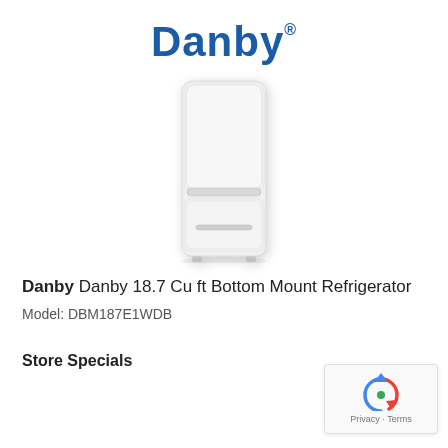[Figure (logo): Danby brand logo in bold blue text with registered trademark symbol]
[Figure (photo): White Danby bottom mount refrigerator with upper fridge door and lower freezer drawer]
Danby Danby 18.7 Cu ft Bottom Mount Refrigerator
Model: DBM187E1WDB
Store Specials